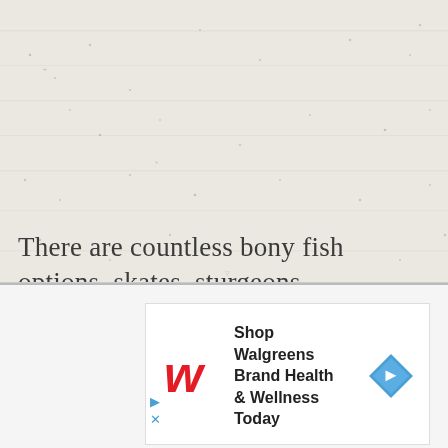[Figure (photo): Light gray textured background with scattered small dots and faint horizontal streaks, resembling paper or a sandy/snowy surface.]
There are countless bony fish options, skates, sturgeons,
[Figure (screenshot): Advertisement banner for Walgreens Brand Health & Wellness Today, featuring the Walgreens cursive 'W' logo in red, bold text, and a blue diamond-shaped arrow icon.]